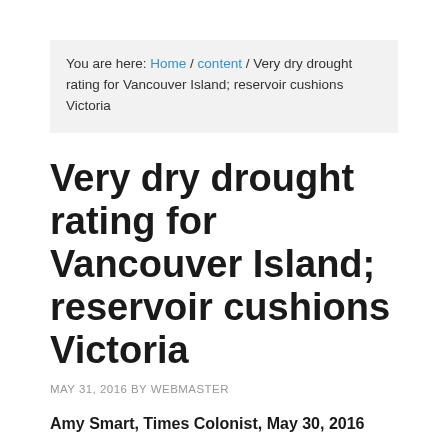You are here: Home / content / Very dry drought rating for Vancouver Island; reservoir cushions Victoria
Very dry drought rating for Vancouver Island; reservoir cushions Victoria
MAY 31, 2016 BY WEBMASTER
Amy Smart, Times Colonist, May 30, 2016